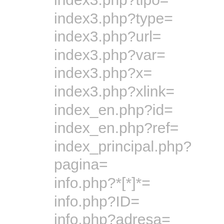index3.php?tipo=
index3.php?type=
index3.php?url=
index3.php?var=
index3.php?x=
index3.php?xlink=
index_en.php?id=
index_en.php?ref=
index_principal.php?pagina=
info.php?*[*]*=
info.php?ID=
info.php?adresa=
info.php?base_dir=
info.php?body=
info.php?c=
info.php?chapter=
info.php?content=
info.php?doshow=